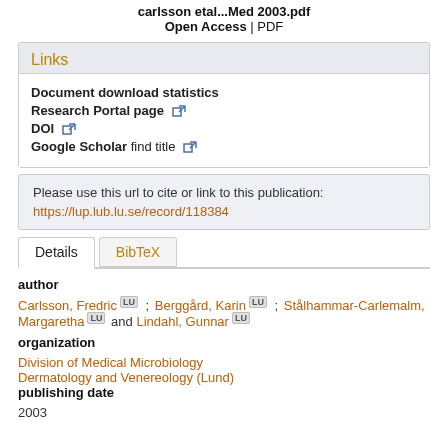carlsson etal...Med 2003.pdf
Open Access | PDF
Links
Document download statistics
Research Portal page
DOI
Google Scholar find title
Please use this url to cite or link to this publication:
https://lup.lub.lu.se/record/118384
Details | BibTeX
author
Carlsson, Fredric LU ; Berggård, Karin LU ; Stålhammar-Carlemalm, Margaretha LU and Lindahl, Gunnar LU
organization
Division of Medical Microbiology
Dermatology and Venereology (Lund)
publishing date
2003